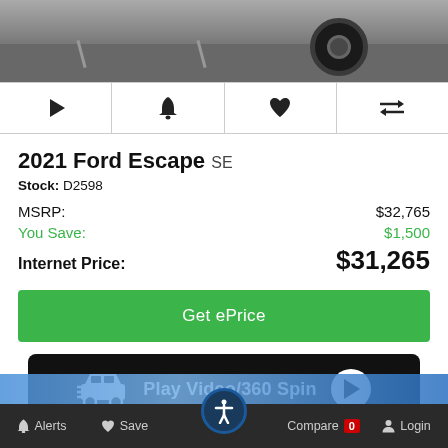[Figure (photo): Partial view of a car tire and parking lot asphalt from above — top portion of a vehicle listing photo]
[Figure (screenshot): Toolbar with four icon buttons: play/video, bell/alerts, heart/save, compare arrows]
2021 Ford Escape SE
Stock: D2598
MSRP: $32,765
You Save: $1,500
Internet Price: $31,265
[Figure (screenshot): Green 'Get ePrice' call-to-action button]
[Figure (screenshot): Black banner button with car icon and text 'Play Video/360 Spin' with white circle play button]
Alerts  Save  Compare 0  Login